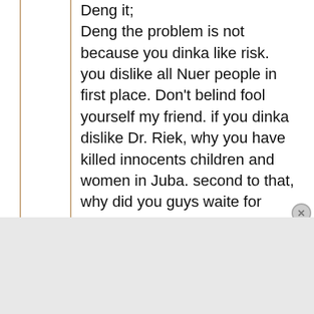Deng it; Deng the problem is not because you dinka like risk. you dislike all Nuer people in first place. Don't belind fool yourself my friend. if you dinka dislike Dr. Riek, why you have killed innocents children and women in Juba. second to that, why did you guys waite for election to come and vote Riek out in the election. Your words in this social media are very shallow
[Figure (screenshot): DuckDuckGo advertisement banner with orange background. Text reads: 'Search, browse, and email with more privacy. All in One Free App'. Shows a smartphone with the DuckDuckGo logo.]